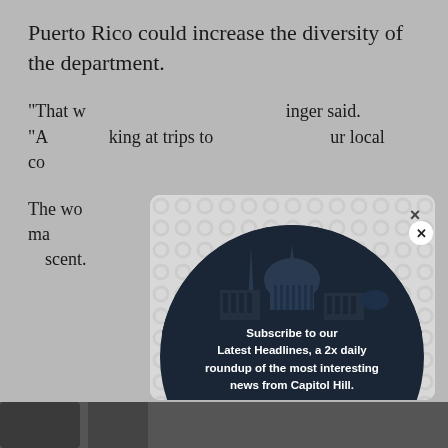Puerto Rico could increase the diversity of the department.
“That w… of th… ” of that in B…inger said. “A… …king at trips to… …ur local co…
The wo… … …nale and ma… …rs, of both Pu… …scent.
[Figure (infographic): Modal popup overlay with a squiggle/bubble pattern background, containing a dark navy circle with US Capitol skyline silhouette. The circle contains text: 'Subscribe to our Latest Headlines, a 2x daily roundup of the most interesting news from Capitol Hill.' with an email input field, a SIGN ME UP button, and 'No, thanks' link. There is an X close button at top-right of the overlay box, and a circular close button on the circle.]